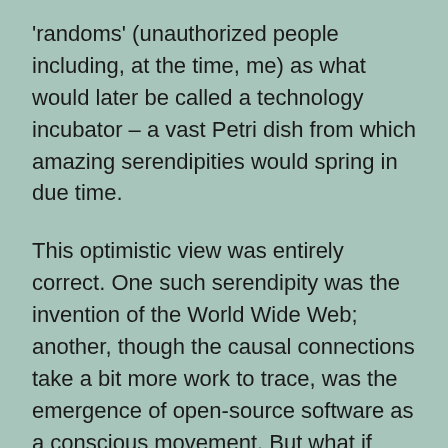'randoms' (unauthorized people including, at the time, me) as what would later be called a technology incubator – a vast Petri dish from which amazing serendipities would spring in due time.
This optimistic view was entirely correct. One such serendipity was the invention of the World Wide Web; another, though the causal connections take a bit more work to trace, was the emergence of open-source software as a conscious movement. But what if DARPA had been caught in that lie, funding for its network